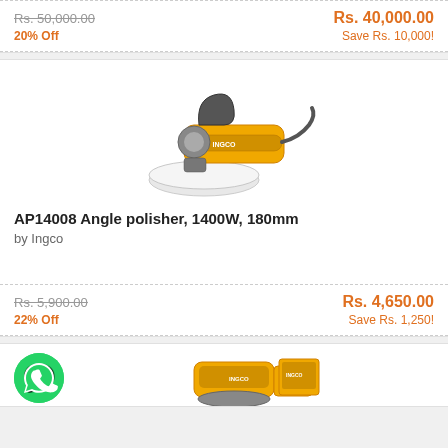Rs. 50,000.00
Rs. 40,000.00
20% Off
Save Rs. 10,000!
[Figure (photo): INGCO AP14008 Angle polisher with orange/yellow body and white polishing pad]
AP14008 Angle polisher, 1400W, 180mm
by Ingco
Rs. 5,900.00
Rs. 4,650.00
22% Off
Save Rs. 1,250!
[Figure (photo): INGCO sander/polisher tool, orange/yellow body — partial view at bottom]
[Figure (logo): WhatsApp green circle icon]